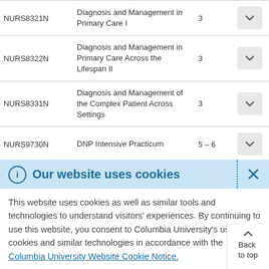| Code | Course Name | Credits |  |
| --- | --- | --- | --- |
| NURS8321N | Diagnosis and Management in Primary Care I | 3 |  |
| NURS8322N | Diagnosis and Management in Primary Care Across the Lifespan II | 3 |  |
| NURS8331N | Diagnosis and Management of the Complex Patient Across Settings | 3 |  |
| NURS9730N | DNP Intensive Practicum | 5 – 6 |  |
Our website uses cookies
This website uses cookies as well as similar tools and technologies to understand visitors' experiences. By continuing to use this website, you consent to Columbia University's usage of cookies and similar technologies in accordance with the Columbia University Website Cookie Notice.